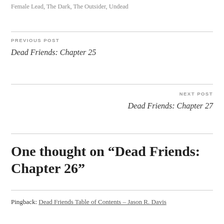Female Lead, The Dark, The Outsider, Undead
PREVIOUS POST
Dead Friends: Chapter 25
NEXT POST
Dead Friends: Chapter 27
One thought on “Dead Friends: Chapter 26”
Pingback: Dead Friends Table of Contents – Jason R. Davis